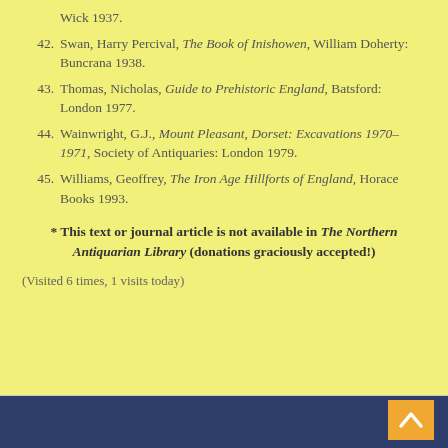Wick 1937.
42. Swan, Harry Percival, The Book of Inishowen, William Doherty: Buncrana 1938.
43. Thomas, Nicholas, Guide to Prehistoric England, Batsford: London 1977.
44. Wainwright, G.J., Mount Pleasant, Dorset: Excavations 1970-1971, Society of Antiquaries: London 1979.
45. Williams, Geoffrey, The Iron Age Hillforts of England, Horace Books 1993.
* This text or journal article is not available in The Northern Antiquarian Library (donations graciously accepted!)
(Visited 6 times, 1 visits today)